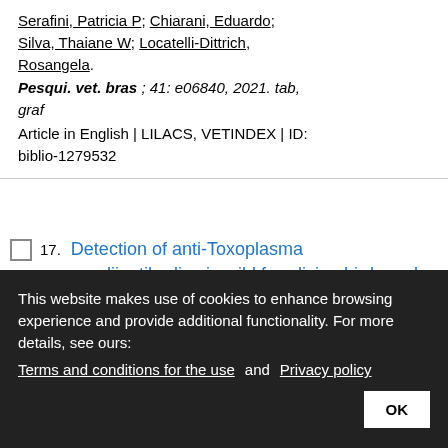Serafini, Patricia P; Chiarani, Eduardo; Silva, Thaiane W; Locatelli-Dittrich, Rosangela.
Pesqui. vet. bras ; 41: e06840, 2021. tab, graf
Article in English | LILACS, VETINDEX | ID: biblio-1279532
17. Detection of anti-Toxoplasma gondiiantibodies in wild free-living birds and mammals from the northwest region of São Paulo state, Brazil / Detecção de silvestres de vida livre da região
This website makes use of cookies to enhance browsing experience and provide additional functionality. For more details, see ours: Terms and conditions for the use and Privacy policy OK